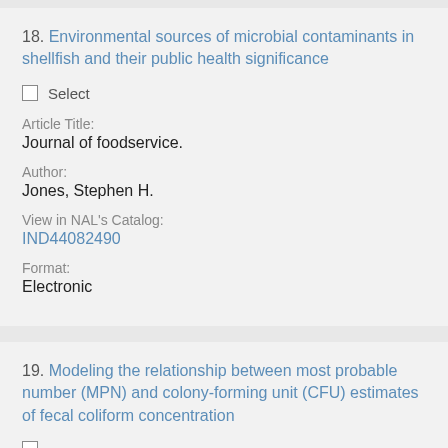18. Environmental sources of microbial contaminants in shellfish and their public health significance
Select
Article Title:
Journal of foodservice.
Author:
Jones, Stephen H.
View in NAL's Catalog:
IND44082490
Format:
Electronic
19. Modeling the relationship between most probable number (MPN) and colony-forming unit (CFU) estimates of fecal coliform concentration